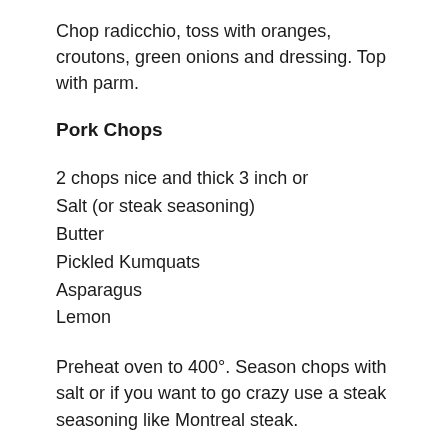Chop radicchio, toss with oranges, croutons, green onions and dressing. Top with parm.
Pork Chops
2 chops nice and thick 3 inch or
Salt (or steak seasoning)
Butter
Pickled Kumquats
Asparagus
Lemon
Preheat oven to 400°. Season chops with salt or if you want to go crazy use a steak seasoning like Montreal steak.
Heat a cast iron pan up over medium high heat, add